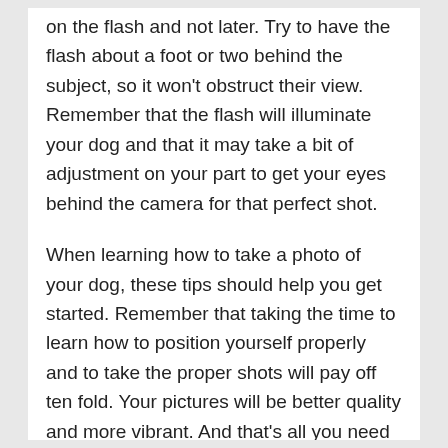on the flash and not later. Try to have the flash about a foot or two behind the subject, so it won't obstruct their view. Remember that the flash will illuminate your dog and that it may take a bit of adjustment on your part to get your eyes behind the camera for that perfect shot.
When learning how to take a photo of your dog, these tips should help you get started. Remember that taking the time to learn how to position yourself properly and to take the proper shots will pay off ten fold. Your pictures will be better quality and more vibrant. And that's all you need to know on how to take a photo of your dog!